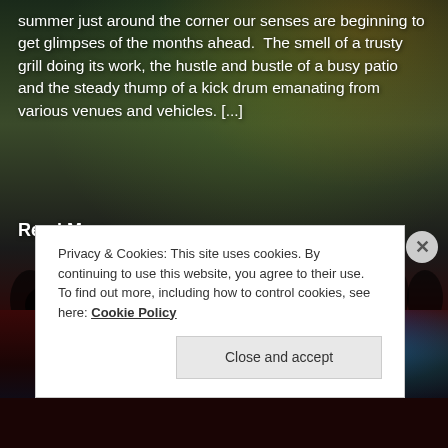[Figure (photo): Dark background festival/concert crowd scene with colorful flags and lights, people gathered in large numbers at an outdoor event.]
summer just around the corner our senses are beginning to get glimpses of the months ahead.  The smell of a trusty grill doing its work, the hustle and bustle of a busy patio and the steady thump of a kick drum emanating from various venues and vehicles. [...]
Read More
Privacy & Cookies: This site uses cookies. By continuing to use this website, you agree to their use.
To find out more, including how to control cookies, see here: Cookie Policy
Close and accept